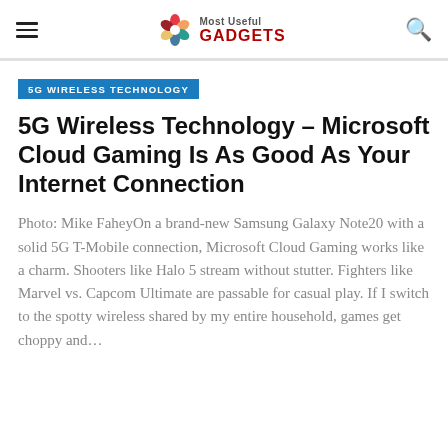Most Useful GADGETS
5G WIRELESS TECHNOLOGY
5G Wireless Technology – Microsoft Cloud Gaming Is As Good As Your Internet Connection
Photo: Mike FaheyOn a brand-new Samsung Galaxy Note20 with a solid 5G T-Mobile connection, Microsoft Cloud Gaming works like a charm. Shooters like Halo 5 stream without stutter. Fighters like Marvel vs. Capcom Ultimate are passable for casual play. If I switch to the spotty wireless shared by my entire household, games get choppy and…